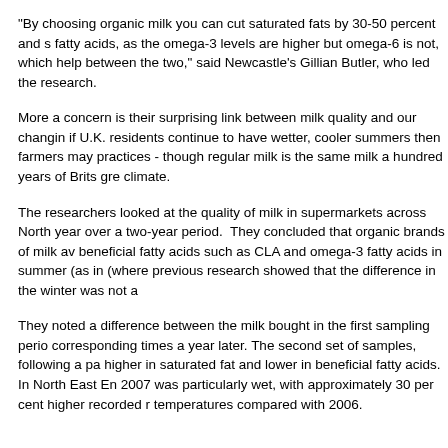"By choosing organic milk you can cut saturated fats by 30-50 percent and s fatty acids, as the omega-3 levels are higher but omega-6 is not, which help between the two," said Newcastle's Gillian Butler, who led the research.
More a concern is their surprising link between milk quality and our changin if U.K. residents continue to have wetter, cooler summers then farmers may practices - though regular milk is the same milk a hundred years of Brits gre climate.
The researchers looked at the quality of milk in supermarkets across North year over a two-year period.  They concluded that organic brands of milk av beneficial fatty acids such as CLA and omega-3 fatty acids in summer (as in (where previous research showed that the difference in the winter was not a
They noted a difference between the milk bought in the first sampling period corresponding times a year later. The second set of samples, following a pa higher in saturated fat and lower in beneficial fatty acids.   In North East En 2007 was particularly wet, with approximately 30 per cent higher recorded r temperatures compared with 2006.